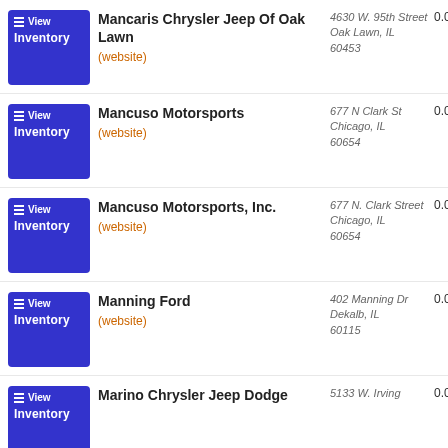Mancaris Chrysler Jeep Of Oak Lawn (website) | 4630 W. 95th Street, Oak Lawn, IL 60453 | 0.0
Mancuso Motorsports (website) | 677 N Clark St, Chicago, IL 60654 | 0.0
Mancuso Motorsports, Inc. (website) | 677 N. Clark Street, Chicago, IL 60654 | 0.0
Manning Ford (website) | 402 Manning Dr, Dekalb, IL 60115 | 0.0
Marino Chrysler Jeep Dodge | 5133 W. Irving | 0.0